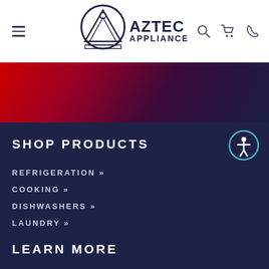[Figure (logo): Aztec Appliance logo with pyramid icon and bold text]
[Figure (illustration): Red to dark navy gradient banner]
SHOP PRODUCTS
[Figure (other): Accessibility icon - person in circle]
REFRIGERATION »
COOKING »
DISHWASHERS »
LAUNDRY »
LEARN MORE